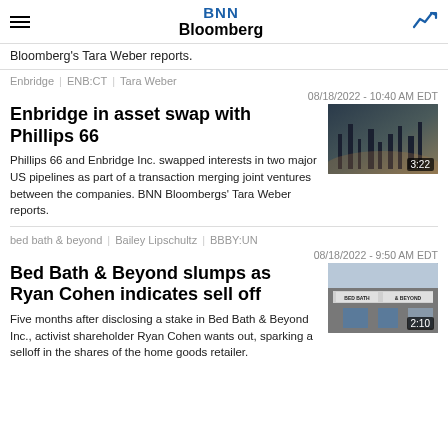BNN Bloomberg
Bloomberg's Tara Weber reports.
Enbridge | ENB:CT | Tara Weber
08/18/2022 - 10:40 AM EDT
Enbridge in asset swap with Phillips 66
Phillips 66 and Enbridge Inc. swapped interests in two major US pipelines as part of a transaction merging joint ventures between the companies. BNN Bloombergs' Tara Weber reports.
[Figure (photo): Video thumbnail showing industrial refinery silhouette at dusk with play button overlay and duration 3:22]
bed bath & beyond | Bailey Lipschultz | BBBY:UN
08/18/2022 - 9:50 AM EDT
Bed Bath & Beyond slumps as Ryan Cohen indicates sell off
Five months after disclosing a stake in Bed Bath & Beyond Inc., activist shareholder Ryan Cohen wants out, sparking a selloff in the shares of the home goods retailer.
[Figure (photo): Video thumbnail showing Bed Bath & Beyond store exterior with play button overlay and duration 2:10]